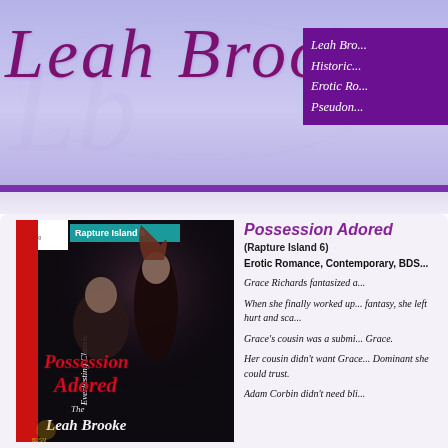Leah Brooke
Leah Brooke
Historic...
Erotic Ro...
Pseudon...
[Figure (illustration): Book cover for 'Possession Adored' by Leah Brooke, Rapture Island 6, showing a man and woman in dramatic pose, dark background, red script title, Siren Publishing Everlasting Classic BDSM imprint]
Possession Adored
(Rapture Island 6)
Erotic Romance, Contemporary, BDS...
Grace Richards fantasized a...
When she finally worked up... fantasy, she left hurt and sca...
Grace's cousin was a submi... Grace.
Her cousin didn't want Grace... Dominant she could trust.
Adam Corbin didn't need bli...